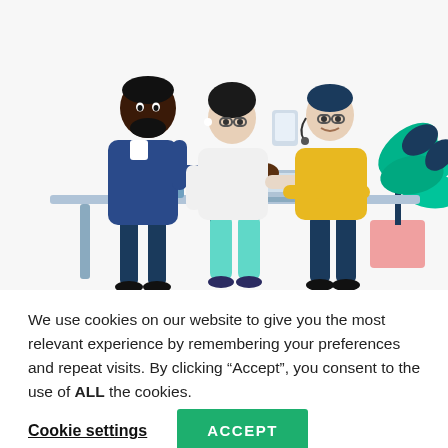[Figure (illustration): Office scene illustration showing three people at a desk: a standing man in a navy suit holding a tablet, a woman in white seated and pointing at a laptop, and a man in a yellow sweater seated at the laptop. A potted plant with large green leaves is in the background right.]
We use cookies on our website to give you the most relevant experience by remembering your preferences and repeat visits. By clicking “Accept”, you consent to the use of ALL the cookies.
Cookie settings | ACCEPT